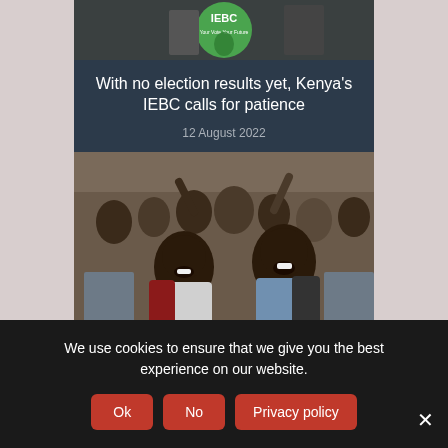[Figure (photo): IEBC logo on green background with Kenya map, partially visible at top of card]
With no election results yet, Kenya’s IEBC calls for patience
12 August 2022
[Figure (photo): Group of African school children in blue uniforms with backpacks, smiling and raising hands]
African life expectancy improves by
We use cookies to ensure that we give you the best experience on our website.